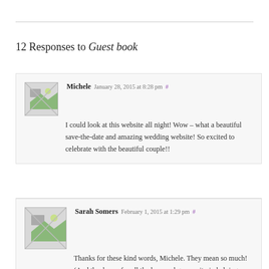12 Responses to Guest book
Michele  January 28, 2015 at 8:28 pm  #
I could look at this website all night! Wow – what a beautiful save-the-date and amazing wedding website! So excited to celebrate with the beautiful couple!!
Sarah Somers  February 1, 2015 at 1:29 pm  #
Thanks for these kind words, Michele. They mean so much! (And thank you for all the love and generosity in helping us celebrate the upcoming wedding. We love you! <3)